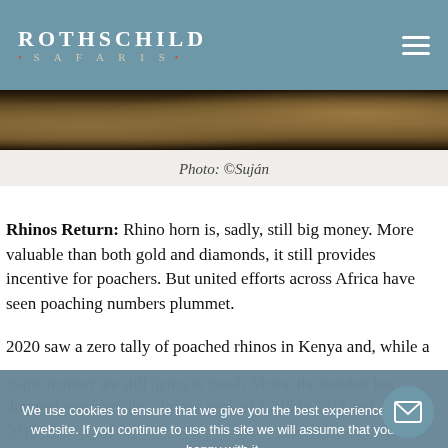ROTHSCHILD SAFARIS
[Figure (photo): Dark nature/safari landscape strip photo, credited to Suján]
Photo: ©Suján
Rhinos Return: Rhino horn is, sadly, still big money. More valuable than both gold and diamonds, it still provides incentive for poachers. But united efforts across Africa have seen poaching numbers plummet.
2020 saw a zero tally of poached rhinos in Kenya and, while a tragic number are still dying in South Africa, the number has dropped considerably – from a peak of 1,215 in 2014 and 2015
Taken as a whole, rhino poaching has seen a decrease of
We use cookies to ensure that we give you the best experience on our website. If you continue to use this site we will assume that you are happy with it.